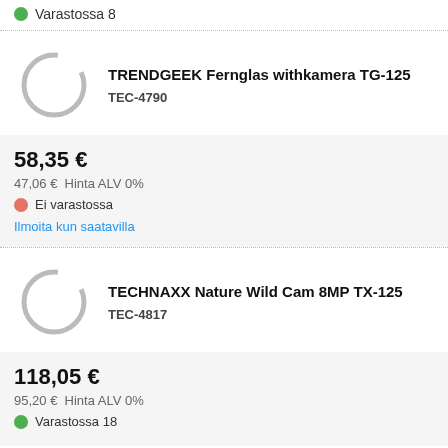Varastossa 8
TRENDGEEK Fernglas withkamera TG-125
TEC-4790
58,35 €
47,06 €  Hinta ALV 0%
Ei varastossa
Ilmoita kun saatavilla
TECHNAXX Nature Wild Cam 8MP TX-125
TEC-4817
118,05 €
95,20 €  Hinta ALV 0%
Varastossa 18